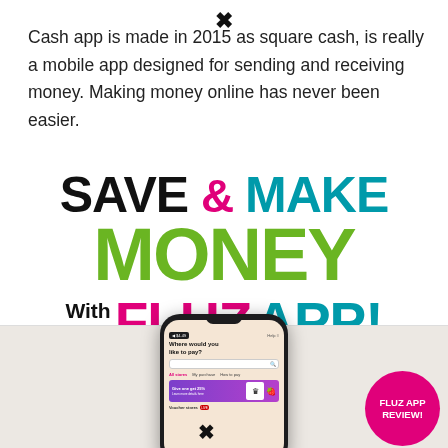Cash app is made in 2015 as square cash, is really a mobile app designed for sending and receiving money. Making money online has never been easier.
[Figure (infographic): Promotional graphic for the Fluz App with text: SAVE & MAKE MONEY with the FLUZ APP! in large bold colored letters (black, pink, teal, green), followed by a smartphone mockup showing the Fluz app interface with 'Where would you like to pay?' and a pink circular badge saying 'FLUZ APP REVIEW!']